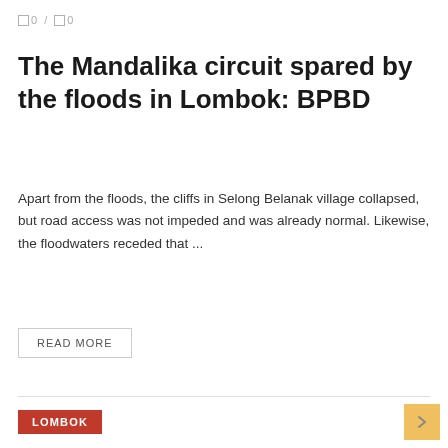0 / 0
The Mandalika circuit spared by the floods in Lombok: BPBD
Apart from the floods, the cliffs in Selong Belanak village collapsed, but road access was not impeded and was already normal. Likewise, the floodwaters receded that ...
READ MORE
LOMBOK